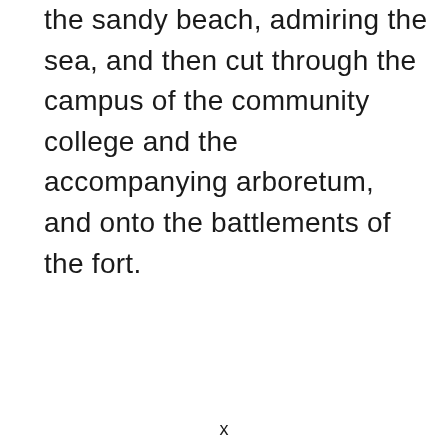the sandy beach, admiring the sea, and then cut through the campus of the community college and the accompanying arboretum, and onto the battlements of the fort.
x